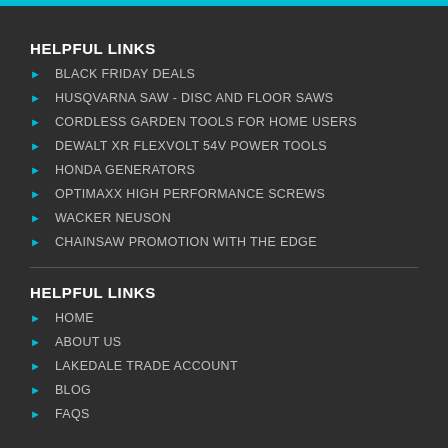HELPFUL LINKS
BLACK FRIDAY DEALS
HUSQVARNA SAW - DISC AND FLOOR SAWS
CORDLESS GARDEN TOOLS FOR HOME USERS
DEWALT XR FLEXVOLT 54V POWER TOOLS
HONDA GENERATORS
OPTIMAXX HIGH PERFORMANCE SCREWS
WACKER NEUSON
CHAINSAW PROMOTION WITH THE EDGE
HELPFUL LINKS
HOME
ABOUT US
LAKEDALE TRADE ACCOUNT
BLOG
FAQS